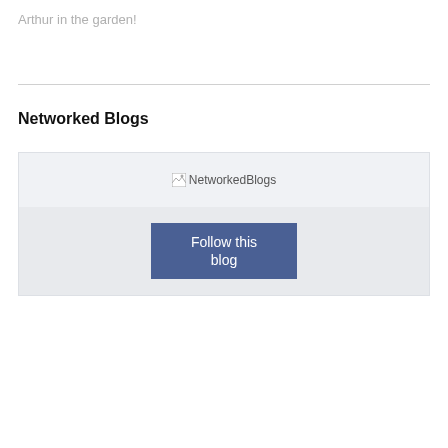Arthur in the garden!
Networked Blogs
[Figure (screenshot): NetworkedBlogs widget with a broken image placeholder showing 'NetworkedBlogs' alt text and a blue 'Follow this blog' button below it, set on a light gray background panel.]